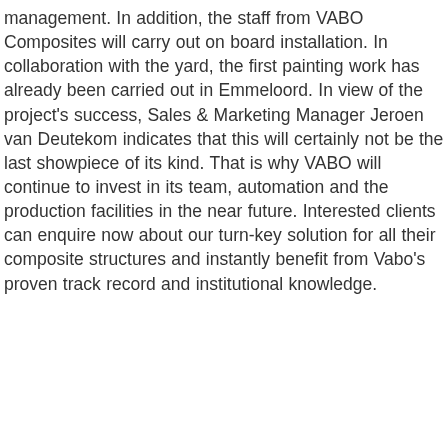management. In addition, the staff from VABO Composites will carry out on board installation. In collaboration with the yard, the first painting work has already been carried out in Emmeloord. In view of the project's success, Sales & Marketing Manager Jeroen van Deutekom indicates that this will certainly not be the last showpiece of its kind. That is why VABO will continue to invest in its team, automation and the production facilities in the near future. Interested clients can enquire now about our turn-key solution for all their composite structures and instantly benefit from Vabo's proven track record and institutional knowledge.